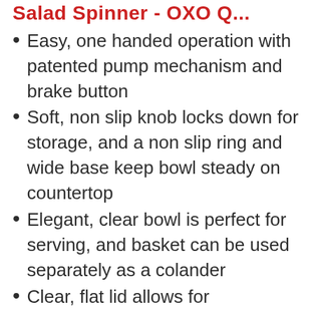Salad Spinner - OXO Q...
Easy, one handed operation with patented pump mechanism and brake button
Soft, non slip knob locks down for storage, and a non slip ring and wide base keep bowl steady on countertop
Elegant, clear bowl is perfect for serving, and basket can be used separately as a colander
Clear, flat lid allows for convenient stacking when not in use, disassembles for easy cleaning, and